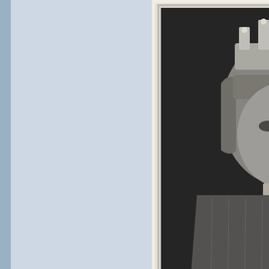[Figure (illustration): Engraved portrait of John (John Lackland), King of England, wearing a crown and royal robes. Below the portrait is a smaller oval vignette scene showing figures in a historical setting with decorative scrollwork surround. At the bottom of the plate the name JOHN is printed.]
John (John Lackland) - King of En...
[Figure (illustration): Partial view of another engraved historical portrait or illustration, cut off at the bottom of the page.]